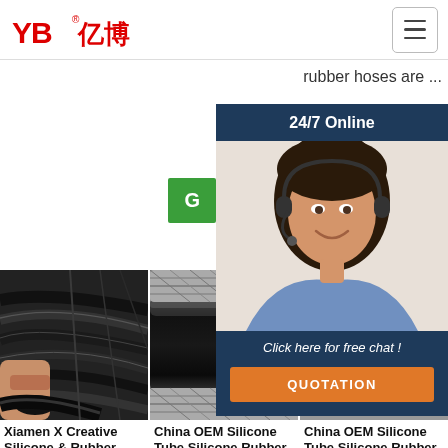[Figure (logo): YB亿博 company logo in red]
rubber hoses are ...
[Figure (infographic): Live chat widget with agent photo, 24/7 Online label, green Get button, Click here for free chat! text, and orange QUOTATION button]
[Figure (photo): Silicone and rubber hoses/cables bundle - left product image]
[Figure (photo): Black silicone rubber tube close-up - middle product image]
[Figure (photo): Silicone tube partial view - right product image]
Xiamen X Creative Silicone & Rubber
China OEM Silicone Tube Silicone Rubber Pipe
China OEM Silicone Tube Silicone Rubber Pipe